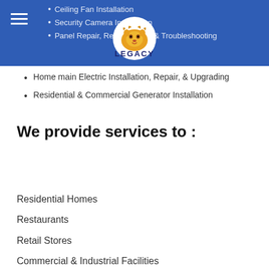Navigation bar with hamburger menu and Legacy logo
Ceiling Fan Installation
Security Camera Installation
Panel Repair, Replacement, & Troubleshooting
Home main Electric Installation, Repair, & Upgrading
Residential & Commercial Generator Installation
We provide services to :
Residential Homes
Restaurants
Retail Stores
Commercial & Industrial Facilities
Universities
Office Complexes
Housing & Cooling Centers